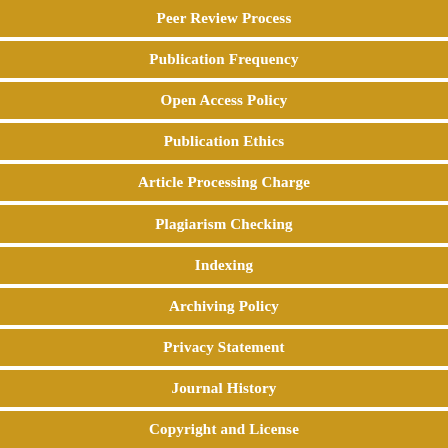Peer Review Process
Publication Frequency
Open Access Policy
Publication Ethics
Article Processing Charge
Plagiarism Checking
Indexing
Archiving Policy
Privacy Statement
Journal History
Copyright and License